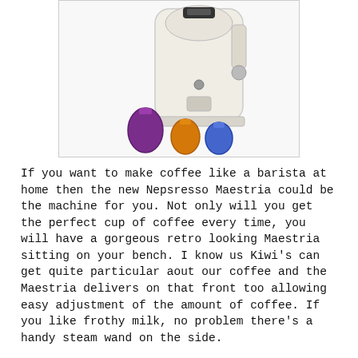[Figure (photo): Photo of a Nespresso Maestria coffee machine (cream/white color) with several coffee capsules in front of it, including a purple, orange, and blue capsule.]
If you want to make coffee like a barista at home then the new Nepsresso Maestria could be the machine for you. Not only will you get the perfect cup of coffee every time, you will have a gorgeous retro looking Maestria sitting on your bench. I know us Kiwi's can get quite particular aout our coffee and the Maestria delivers on that front too allowing easy adjustment of the amount of coffee. If you like frothy milk, no problem there's a handy steam wand on the side.
And what I like about Nespresso is that you can choose your coffee from one of their 16 grand crus, whether you like espresso, dark roasted or even decaffienated, there is